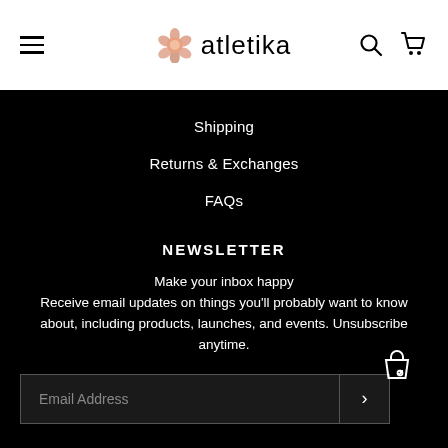atletika
Shipping
Returns & Exchanges
FAQs
NEWSLETTER
Make your inbox happy
Receive email updates on things you'll probably want to know about, including products, launches, and events. Unsubscribe anytime.